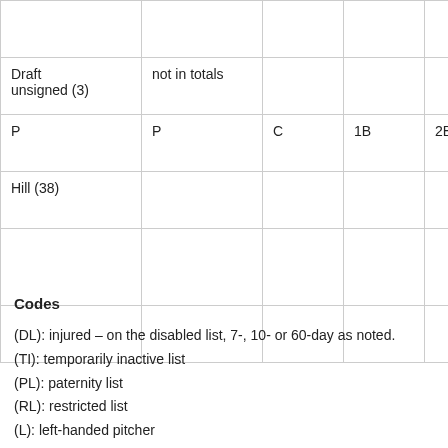|  |  |  |  |  |  |
| Draft unsigned (3) | not in totals |  |  |  |  |
| P | P | C | 1B | 2B | S |
| Hill (38) |  |  |  |  |  |
|  |  |  |  |  |  |
|  |  |  |  |  |  |
Codes
(DL): injured – on the disabled list, 7-, 10- or 60-day as noted.
(TI): temporarily inactive list
(PL): paternity list
(RL): restricted list
(L): left-handed pitcher
bold: on the Cardinals' 40-man roster